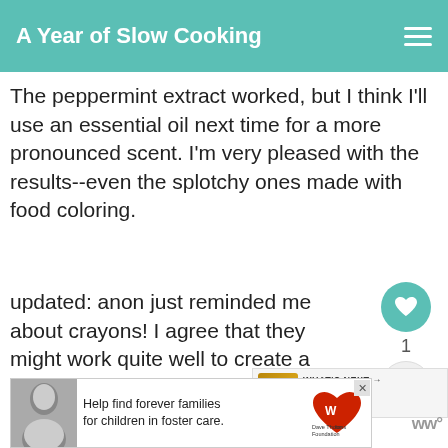A Year of Slow Cooking
The peppermint extract worked, but I think I'll use an essential oil next time for a more pronounced scent. I'm very pleased with the results--even the splotchy ones made with food coloring.
updated: anon just reminded me about crayons! I agree that they might work quite well to create a color. I learned from the crayons-in-the-crock experiment that Crayola melt the nicest.
[Figure (other): Heart/like button showing count of 1, and share button]
[Figure (other): What's Next panel showing Roasted Garlic in the... with thumbnail]
[Figure (other): Advertisement banner: Help find forever families for children in foster care. Dave Thomas Foundation for Adoption logo.]